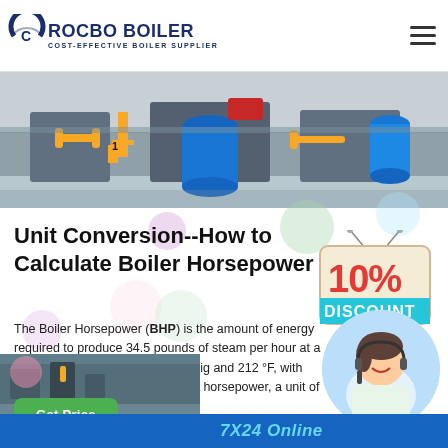ROCBO BOILER — COST-EFFECTIVE BOILER SUPPLIER
[Figure (photo): Industrial boiler room with yellow pipe fittings, blue cylindrical tanks, and metal machinery. Number '1' visible on yellow post.]
Unit Conversion--How to Calculate Boiler Horsepower
[Figure (illustration): 10% DISCOUNT promotional badge with red text on cream sign and teal 'DISCOUNT' text below]
The Boiler Horsepower (BHP) is the amount of energy required to produce 34.5 pounds of steam per hour at a pressure and temperature of 0 Psig and 212 °F, with feedwater at 212 °F. "Boiler horsepower, a unit of measurement of...
[Figure (photo): Customer support representative (woman with headset) in circular crop]
Get Price
7X24 Online